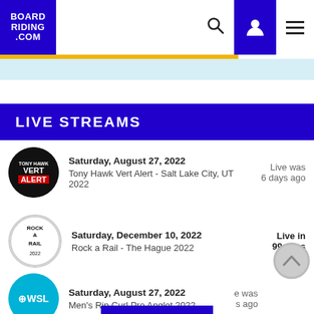BOARD RIDING .COM
LIVE STREAMS
Saturday, August 27, 2022 — Tony Hawk Vert Alert - Salt Lake City, UT 2022 — Live was 6 days ago
Saturday, December 10, 2022 — Rock a Rail - The Hague 2022 — Live in 99 days
Saturday, August 27, 2022 — Men's Rip Curl Pro Anglet 2022 — Live was [x] days ago